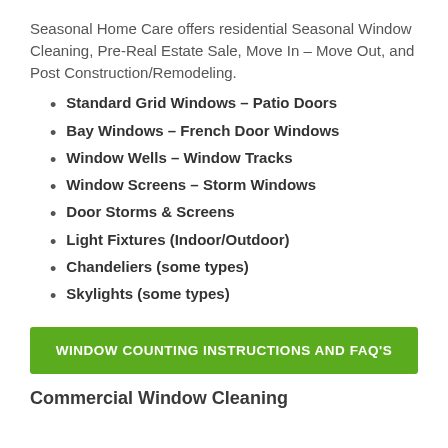Seasonal Home Care offers residential Seasonal Window Cleaning, Pre-Real Estate Sale, Move In – Move Out, and Post Construction/Remodeling.
Standard Grid Windows – Patio Doors
Bay Windows – French Door Windows
Window Wells – Window Tracks
Window Screens – Storm Windows
Door Storms & Screens
Light Fixtures (Indoor/Outdoor)
Chandeliers (some types)
Skylights (some types)
WINDOW COUNTING INSTRUCTIONS AND FAQ'S
Commercial Window Cleaning